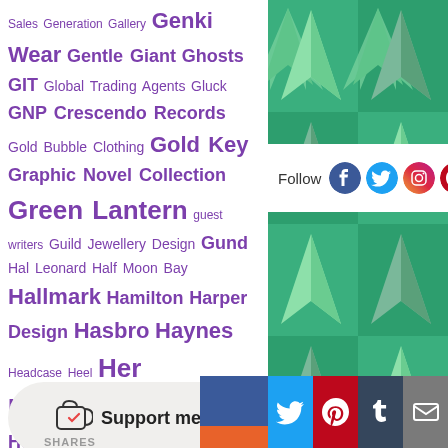Sales Generation Gallery Genki Wear Gentle Giant Ghosts GIT Global Trading Agents Gluck GNP Crescendo Records Gold Bubble Clothing Gold Key Graphic Novel Collection Green Lantern guest writers Guild Jewellery Design Gund Hal Leonard Half Moon Bay Hallmark Hamilton Harper Design Hasbro Haynes Headcase Heel Her Universe Hero Within HeroClix Heye Heyne Highscore Music Hive Hollywood Collectables Group home video homewares Hot Topic Hot Wheels Hunter Icon Heroes Iconic LE Icup IDW IDW Limited IGT Infestation Insight Editions
[Figure (illustration): Green teal checkerboard background with Star Trek delta/arrow shapes in lighter green arranged in a grid pattern]
Follow
[Figure (logo): Social media icons: Facebook (blue), Twitter (blue), Instagram (gradient red/purple), Pinterest (red) in circular icons]
[Figure (logo): Support me button with Ko-fi heart cup logo]
Support me
SHARES